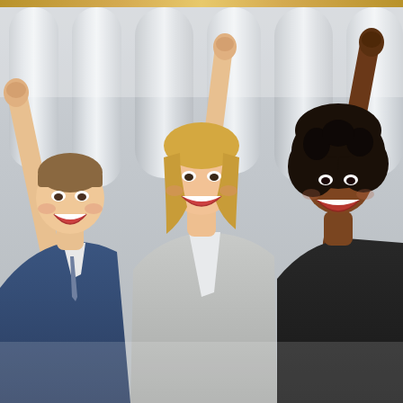[Figure (photo): Three business professionals celebrating with fists raised in the air, smiling and laughing. Left: young white man in blue suit and tie. Center: blonde woman in light gray blazer. Right: Black woman in dark blazer. Background is a modern building with large white cylindrical columns against a light sky.]